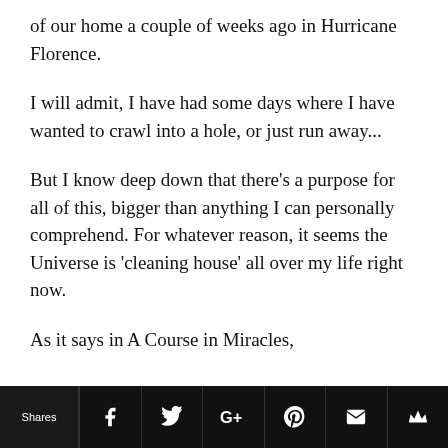of our home a couple of weeks ago in Hurricane Florence.
I will admit, I have had some days where I have wanted to crawl into a hole, or just run away...
But I know deep down that there’s a purpose for all of this, bigger than anything I can personally comprehend. For whatever reason, it seems the Universe is ‘cleaning house’ all over my life right now.
As it says in A Course in Miracles,
Shares [social share buttons: Facebook, Twitter, Google+, Pinterest, Email, Crown]